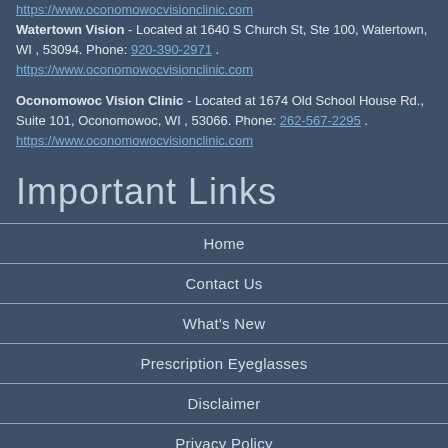https://www.oconomowocvisionclinic.com
Watertown Vision - Located at 1640 S Church St, Ste 100, Watertown, WI , 53094. Phone: 920-390-2971. https://www.oconomowocvisionclinic.com
Oconomowoc Vision Clinic - Located at 1674 Old School House Rd., Suite 101, Oconomowoc, WI , 53066. Phone: 262-567-2295. https://www.oconomowocvisionclinic.com
Important Links
Home
Contact Us
What's New
Prescription Eyeglasses
Disclaimer
Privacy Policy